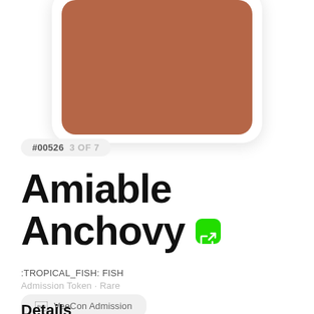[Figure (illustration): Color swatch card showing a terracotta/brown-red color (#b56647) in a rounded rectangle card with shadow]
#00526  3 OF 7
Amiable Anchovy
:TROPICAL_FISH: FISH
Admission Token · Rare
VeeCon Admission
Details